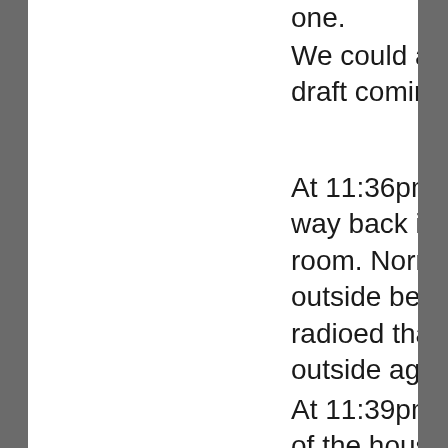one.
We could all feel a cold draft coming through.
At 11:36pm we made our way back into the front left room. Norman went outside because Linda radioed that it was raining outside again.
At 11:39pm we were all out of the house.
The follo sour were capt on